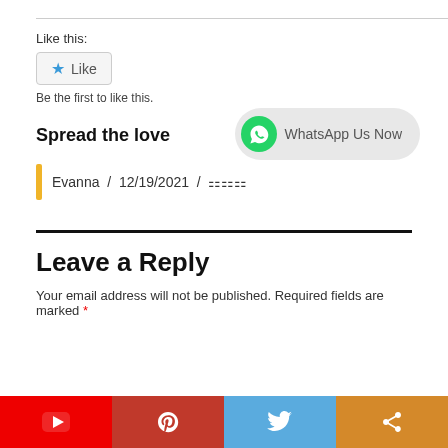Like this:
Like
Be the first to like this.
WhatsApp Us Now
Spread the love
Evanna / 12/19/2021 / ☐☐☐
Leave a Reply
Your email address will not be published. Required fields are marked *
[Figure (infographic): Social media sharing bar at the bottom with YouTube, Pinterest, Twitter, and share icons]